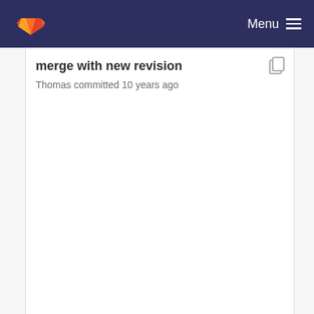Menu
merge with new revision
Thomas committed 10 years ago